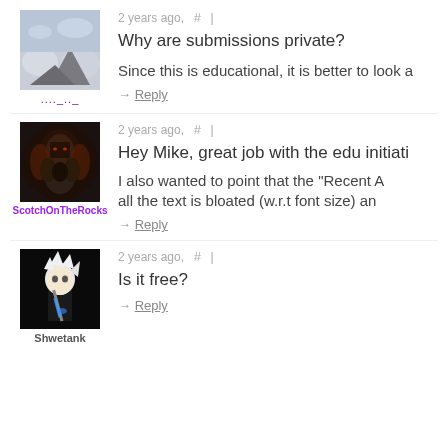2 years ago, # |
Why are submissions private?
Since this is educational, it is better to look a
→ Reply
2 years ago, # |
Hey Mike, great job with the edu initiati
I also wanted to point that the "Recent A all the text is bloated (w.r.t font size) an
→ Reply
ScotchOnTheRocks
2 years ago, # |
Is it free?
→ Reply
Shwetank